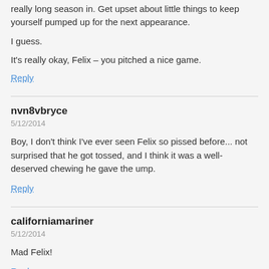really long season in. Got upset about little things to keep yourself pumped up for the next appearance.
I guess.
It's really okay, Felix – you pitched a nice game.
Reply
nvn8vbryce
5/12/2014
Boy, I don't think I've ever seen Felix so pissed before... not surprised that he got tossed, and I think it was a well-deserved chewing he gave the ump.
Reply
californiamariner
5/12/2014
Mad Felix!
Reply